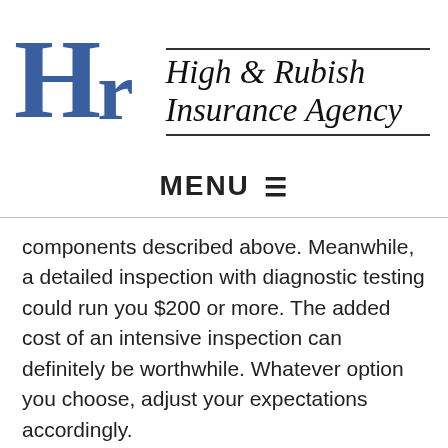[Figure (logo): High & Rubish Insurance Agency logo with large blue HR letters and stylized italic company name]
MENU ☰
components described above. Meanwhile, a detailed inspection with diagnostic testing could run you $200 or more. The added cost of an intensive inspection can definitely be worthwhile. Whatever option you choose, adjust your expectations accordingly.